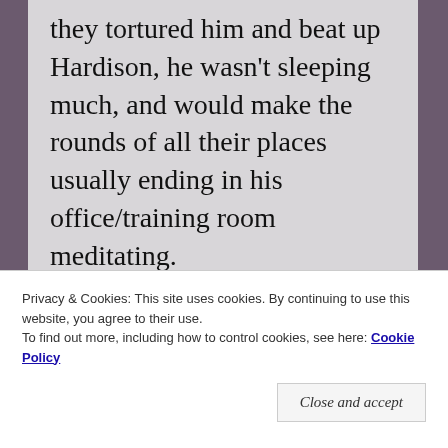they tortured him and beat up Hardison, he wasn't sleeping much, and would make the rounds of all their places usually ending in his office/training room meditating.
After handing Hardison off the Nate, she'd gone back and collected all their files that Mr. Conrad from the CIA had given Zilgram. The stuff she read she'd already
Privacy & Cookies: This site uses cookies. By continuing to use this website, you agree to their use.
To find out more, including how to control cookies, see here: Cookie Policy
Close and accept